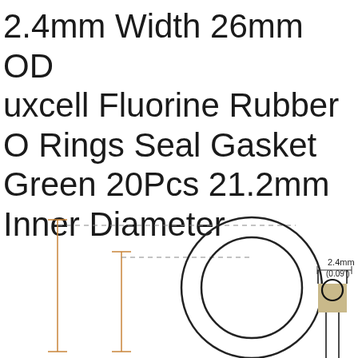2.4mm Width 26mm OD uxcell Fluorine Rubber O Rings Seal Gasket Green 20Pcs 21.2mm Inner Diameter
[Figure (engineering-diagram): Technical cross-section diagram of an O-ring seal gasket showing front view (circular ring with inner and outer diameter markers) and side cross-section view. The front view shows the O-ring as two concentric circles with dimension lines indicating inner and outer diameter. The side view shows a small square cross-section with a circular profile. Dimension callout shows 2.4mm (0.09 inch) width.]